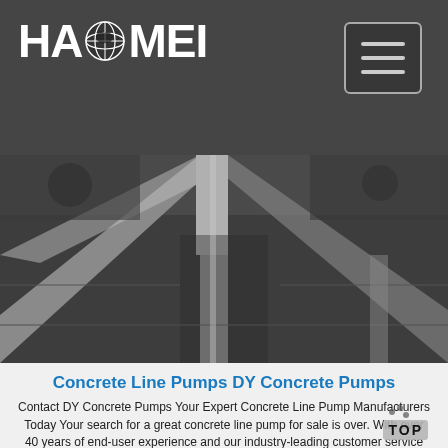[Figure (logo): HAOMEI company logo in white text with globe icon, on dark background navigation bar]
[Figure (photo): Industrial/construction photo showing concrete pump or structural framing components from above, dark grayish tones]
Concrete Line Pumps DY Concrete Pumps
Contact DY Concrete Pumps Your Expert Concrete Line Pump Manufacturers Today Your search for a great concrete line pump for sale is over. With over 40 years of end-user experience and our industry-leading customer service combined with superior engineering and craftsmanship you can be totally confident in the quality of our concrete line pumps.